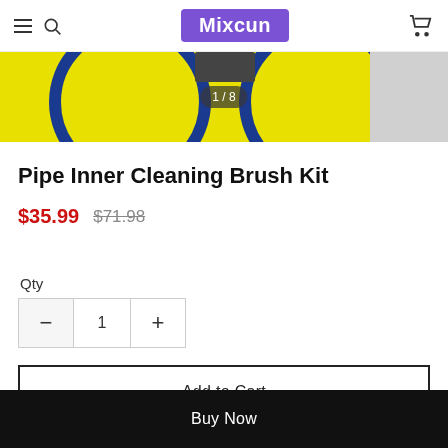Mixcun
[Figure (photo): Product image showing cleaning brushes with yellow background and blue circular design, with image counter 1/8]
Pipe Inner Cleaning Brush Kit
$35.99  $71.98
Qty
- 1 +
Add to Cart
Buy Now